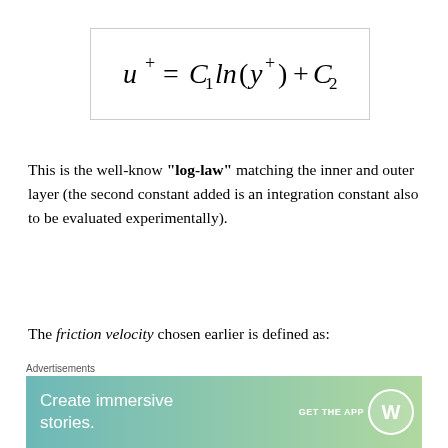This is the well-know "log-law" matching the inner and outer layer (the second constant added is an integration constant also to be evaluated experimentally).
The friction velocity chosen earlier is defined as:
Advertisements
Create immersive stories. GET THE APP